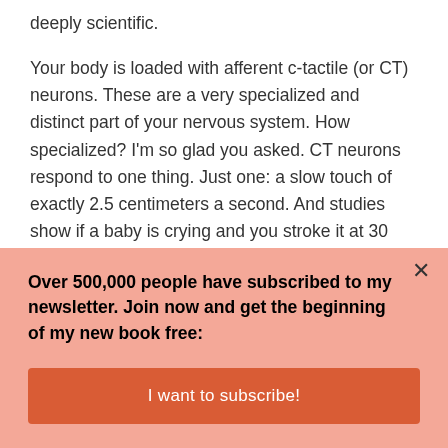deeply scientific.
Your body is loaded with afferent c-tactile (or CT) neurons. These are a very specialized and distinct part of your nervous system. How specialized? I'm so glad you asked. CT neurons respond to one thing. Just one: a slow touch of exactly 2.5 centimeters a second. And studies show if a baby is crying and you stroke it at 30 centimeters a second, they'll just keep on crying. Switch
Over 500,000 people have subscribed to my newsletter. Join now and get the beginning of my new book free:
I want to subscribe!